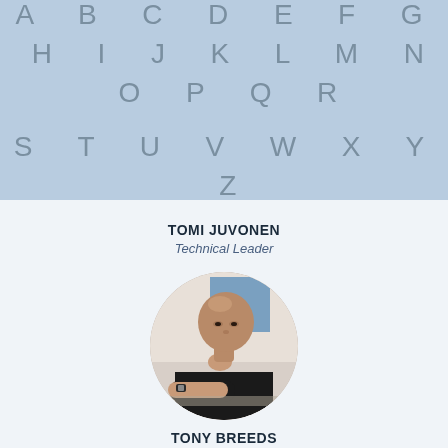[Figure (illustration): Light blue banner with alphabet letters A B C D E F G H I J K L M N O P Q R on first row and S T U V W X Y Z on second row, in grey spaced lettering]
TOMI JUVONEN
Technical Leader
[Figure (photo): Circular cropped photo of a bald man in a black t-shirt, resting chin on hand in a thoughtful pose]
TONY BREEDS